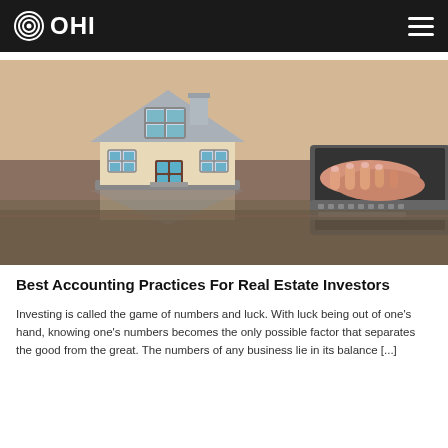OHI
[Figure (photo): A miniature model house placed on a desk with a person's hands typing on a laptop keyboard in the background, suggesting real estate and accounting/finance work.]
Best Accounting Practices For Real Estate Investors
Investing is called the game of numbers and luck. With luck being out of one's hand, knowing one's numbers becomes the only possible factor that separates the good from the great. The numbers of any business lie in its balance [...]